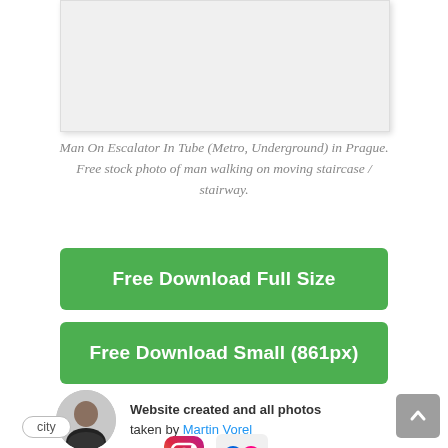[Figure (photo): Partial view of a photo placeholder area (white/light grey box with shadow) showing cropped image of man on escalator]
Man On Escalator In Tube (Metro, Underground) in Prague. Free stock photo of man walking on moving staircase / stairway.
Free Download Full Size
Free Download Small (861px)
Website created and all photos taken by Martin Vorel
[Figure (logo): Instagram logo icon]
[Figure (logo): Flickr logo icon]
city